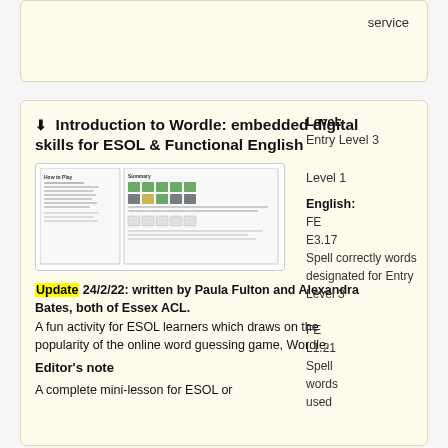service
Introduction to Wordle: embedded digital skills for ESOL & Functional English
[Figure (screenshot): Thumbnail screenshots of a Wordle-style worksheet showing 'How to Play' page and a grid of letter tiles]
Update 24/2/22: written by Paula Fulton and Alexandra Bates, both of Essex ACL. A fun activity for ESOL learners which draws on the popularity of the online word guessing game, Wordle.
Editor's note
A complete mini-lesson for ESOL or
Level:
Entry Level 3
Level 1
English:
FE E3.17 Spell correctly words designated for Entry Level 3
FE L1.21 Spell words used